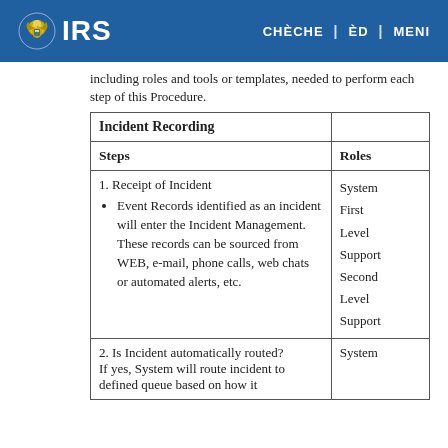IRS | CHÈCHE | ÈD | MENI
including roles and tools or templates, needed to perform each step of this Procedure.
| Incident Recording |  |
| --- | --- |
| Steps | Roles |
| 1. Receipt of Incident
• Event Records identified as an incident will enter the Incident Management. These records can be sourced from WEB, e-mail, phone calls, web chats or automated alerts, etc. | System
First
Level
Support
Second
Level
Support |
| 2. Is Incident automatically routed?
If yes, System will route incident to defined queue based on how it | System |